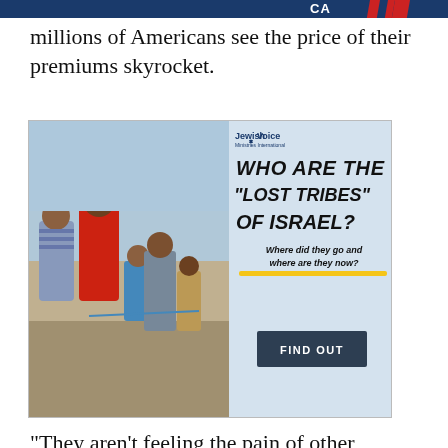millions of Americans see the price of their premiums skyrocket.
[Figure (illustration): Jewish Voice advertisement: 'WHO ARE THE "LOST TRIBES" OF ISRAEL? Where did they go and where are they now? FIND OUT' with a photo of African children on the left side.]
"They aren't feeling the pain of other Americans who have to purchase health insurance without the help of a company or government subsidy," Decker says. "Congress